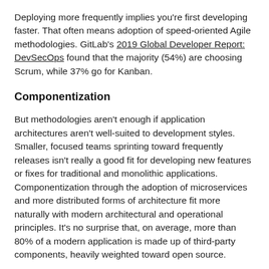Deploying more frequently implies you're first developing faster. That often means adoption of speed-oriented Agile methodologies. GitLab's 2019 Global Developer Report: DevSecOps found that the majority (54%) are choosing Scrum, while 37% go for Kanban.
Componentization
But methodologies aren't enough if application architectures aren't well-suited to development styles. Smaller, focused teams sprinting toward frequently releases isn't really a good fit for developing new features or fixes for traditional and monolithic applications. Componentization through the adoption of microservices and more distributed forms of architecture fit more naturally with modern architectural and operational principles. It's no surprise that, on average, more than 80% of a modern application is made up of third-party components, heavily weighted toward open source.
APIs